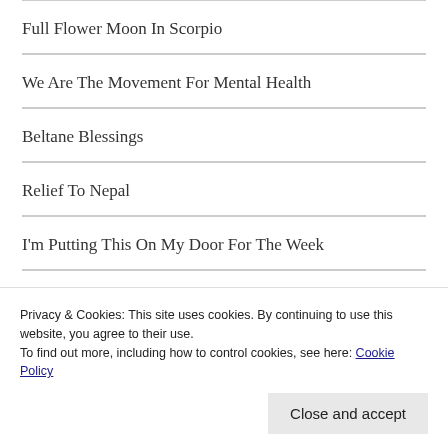Full Flower Moon In Scorpio
We Are The Movement For Mental Health
Beltane Blessings
Relief To Nepal
I'm Putting This On My Door For The Week
Lyrid Meteor Shower
When Politics And Power Take Precedence Over Pain
Privacy & Cookies: This site uses cookies. By continuing to use this website, you agree to their use.
To find out more, including how to control cookies, see here: Cookie Policy
Close and accept